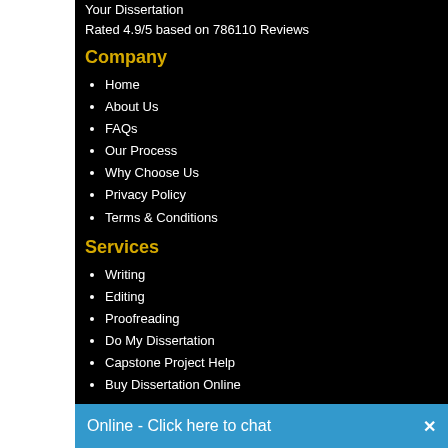Your Dissertation
Rated 4.9/5 based on 786110 Reviews
Company
Home
About Us
FAQs
Our Process
Why Choose Us
Privacy Policy
Terms & Conditions
Services
Writing
Editing
Proofreading
Do My Dissertation
Capstone Project Help
Buy Dissertation Online
Useful
Online - Click here to chat